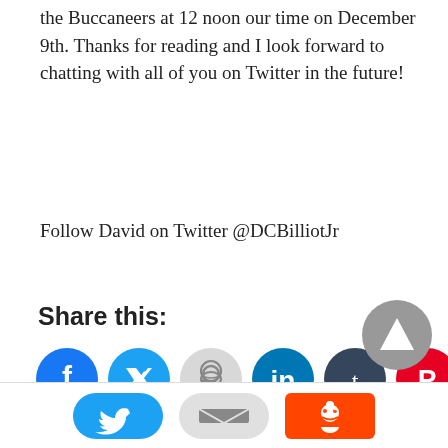the Buccaneers at 12 noon our time on December 9th. Thanks for reading and I look forward to chatting with all of you on Twitter in the future!
Follow David on Twitter @DCBilliotJr
Share this:
[Figure (infographic): Social share buttons: Facebook (blue), Twitter (light blue), Reddit (light gray), LinkedIn (dark blue), Tumblr (dark navy), Pinterest (red), WhatsApp (green)]
[Figure (infographic): Scroll to top button - gray circle with upward triangle arrow]
Bottom share bar with Twitter, Email, and Reddit buttons